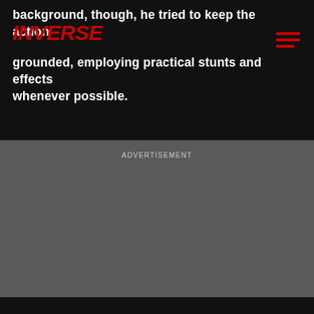background, though, he tried to keep the action grounded, employing practical stunts and effects whenever possible.
INVERSE
ADVERTISEMENT